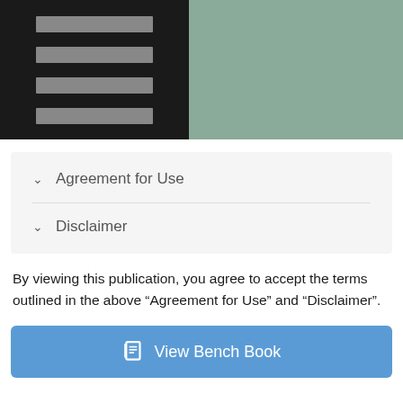[Figure (screenshot): Left panel: black background with four horizontal gray bars (hamburger/menu style). Right panel: muted sage green solid color block.]
Agreement for Use
Disclaimer
By viewing this publication, you agree to accept the terms outlined in the above “Agreement for Use” and “Disclaimer”.
View Bench Book